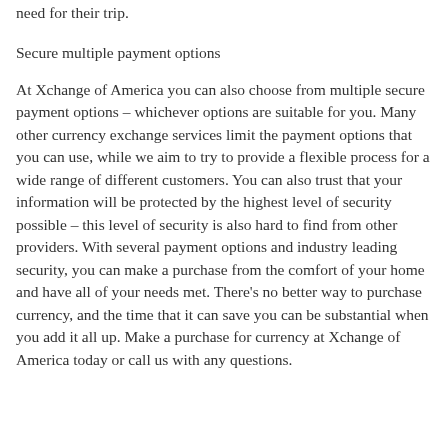need for their trip.
Secure multiple payment options
At Xchange of America you can also choose from multiple secure payment options – whichever options are suitable for you. Many other currency exchange services limit the payment options that you can use, while we aim to try to provide a flexible process for a wide range of different customers. You can also trust that your information will be protected by the highest level of security possible – this level of security is also hard to find from other providers. With several payment options and industry leading security, you can make a purchase from the comfort of your home and have all of your needs met. There's no better way to purchase currency, and the time that it can save you can be substantial when you add it all up. Make a purchase for currency at Xchange of America today or call us with any questions.